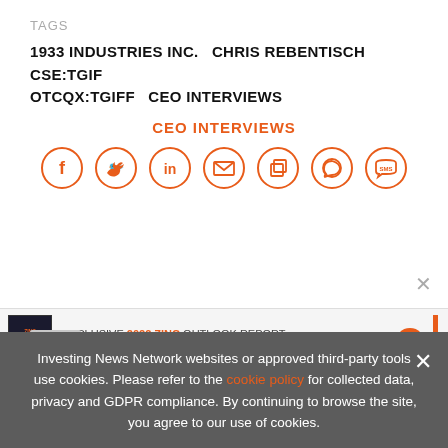TAGS
1933 INDUSTRIES INC.   CHRIS REBENTISCH   CSE:TGIF   OTCQX:TGIFF   CEO INTERVIEWS
CEO INTERVIEWS
[Figure (infographic): Row of 7 orange social media icon circles: Facebook, Twitter, LinkedIn, Email, Copy, WhatsApp, SMS]
[Figure (infographic): Advertisement banner: EXCLUSIVE 2022 ZINC OUTLOOK REPORT. TRENDS. FORECASTS. TOP STOCKS with orange arrow button and orange vertical bar]
Investing News Network websites or approved third-party tools use cookies. Please refer to the cookie policy for collected data, privacy and GDPR compliance. By continuing to browse the site, you agree to our use of cookies.